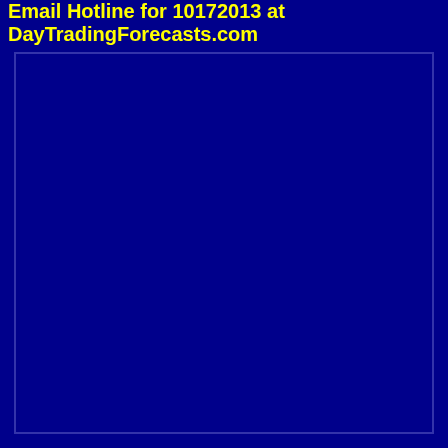Email Hotline for 10172013 at DayTradingForecasts.com
[Figure (other): Large dark navy blue rectangle filling the main content area below the header, bordered by a slightly lighter navy border]